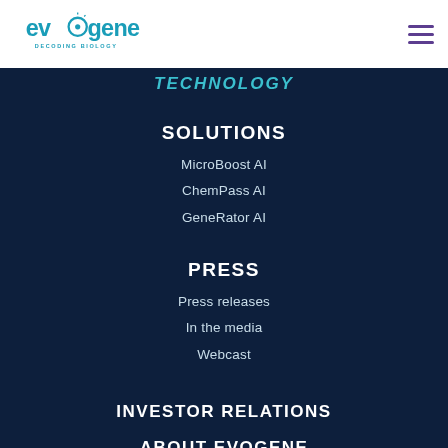[Figure (logo): Evogene logo with teal/blue wordmark and 'DECODING BIOLOGY' tagline below]
TECHNOLOGY
SOLUTIONS
MicroBoost AI
ChemPass AI
GeneRator AI
PRESS
Press releases
In the media
Webcast
INVESTOR RELATIONS
ABOUT EVOGENE